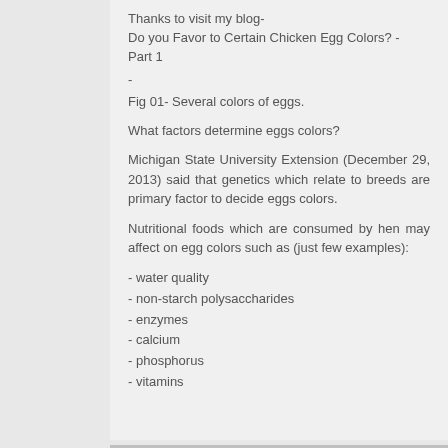Thanks to visit my blog-
Do you Favor to Certain Chicken Egg Colors? - Part 1
-
Fig 01- Several colors of eggs.
What factors determine eggs colors?
Michigan State University Extension (December 29, 2013) said that genetics which relate to breeds are primary factor to decide eggs colors.
Nutritional foods which are consumed by hen may affect on egg colors such as (just few examples):
- water quality
- non-starch polysaccharides
- enzymes
- calcium
- phosphorus
- vitamins